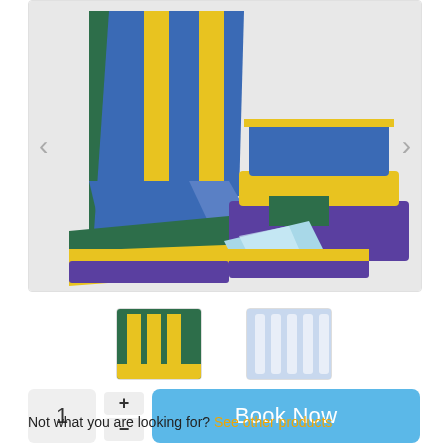[Figure (photo): Inflatable bounce slide in blue, yellow, green and purple colors, shown from the front-side angle. Navigation arrows on left and right sides.]
[Figure (photo): Thumbnail 1: side view of inflatable slide in green and yellow colors.]
[Figure (photo): Thumbnail 2: close-up of purple and white inflatable sections.]
1
Book Now
Not what you are looking for? See other products